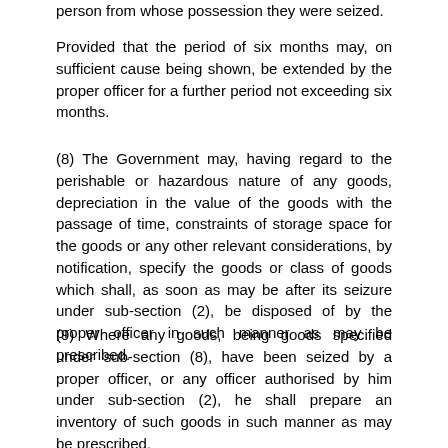person from whose possession they were seized.
Provided that the period of six months may, on sufficient cause being shown, be extended by the proper officer for a further period not exceeding six months.
(8) The Government may, having regard to the perishable or hazardous nature of any goods, depreciation in the value of the goods with the passage of time, constraints of storage space for the goods or any other relevant considerations, by notification, specify the goods or class of goods which shall, as soon as may be after its seizure under sub-section (2), be disposed of by the proper officer in such manner as may be prescribed.
(9) Where any goods, being goods specified under sub-section (8), have been seized by a proper officer, or any officer authorised by him under sub-section (2), he shall prepare an inventory of such goods in such manner as may be prescribed.